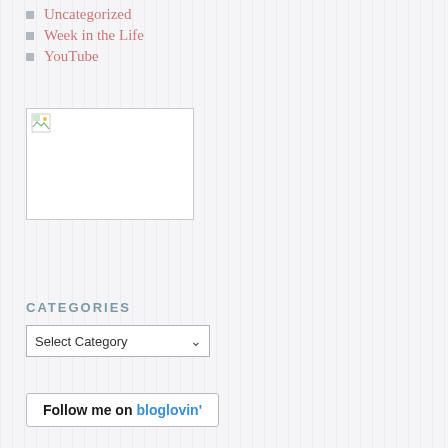Uncategorized
Week in the Life
YouTube
[Figure (other): Broken image placeholder icon in a rectangular box]
CATEGORIES
Select Category (dropdown)
[Figure (other): Follow me on bloglovin' button/badge]